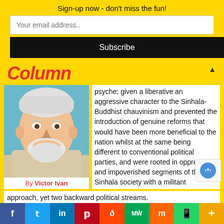Sign-up now - don't miss the fun!
Your email address..
Subscribe
Column
[Figure (photo): Author photo of Victor Ivan, an older bald man with white beard, smiling]
By Victor Ivan
psyche; given a liberative and aggressive character to the Sinhala-Buddhist chauvinism and prevented the introduction of genuine reforms that would have been more beneficial to the nation whilst at the same being different to conventional political parties, and were rooted in oppressed and impoverished segments of the Sinhala society with a militant approach, yet two backward political streams.
f  Twitter  in  Pinterest  Reddit  MW  Mix  WhatsApp  +